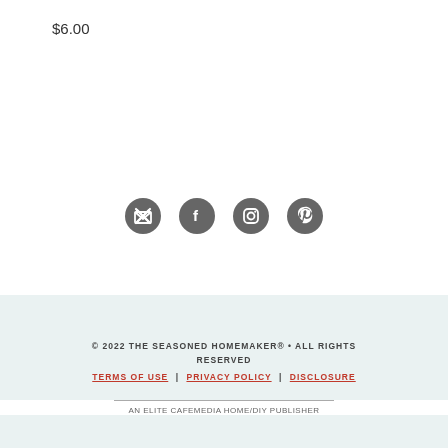$6.00
[Figure (infographic): Four social media icons in dark gray circles: email/X (envelope with X), Facebook, Instagram, Pinterest]
© 2022 THE SEASONED HOMEMAKER® • ALL RIGHTS RESERVED
TERMS OF USE | PRIVACY POLICY | DISCLOSURE
AN ELITE CAFEMEDIA HOME/DIY PUBLISHER